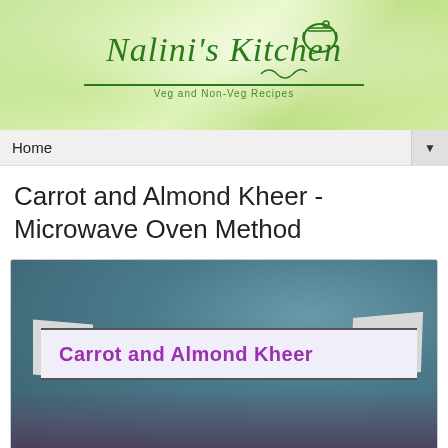[Figure (logo): Nalini's Kitchen logo with green cursive text on a light green watercolor background, with a small pot icon. Subtitle reads 'Veg and Non-Veg Recipes'.]
Home ▼
Carrot and Almond Kheer - Microwave Oven Method
[Figure (photo): Photo of Carrot and Almond Kheer dish with a decorative ribbon banner overlay reading 'Carrot and Almond Kheer' in purple text.]